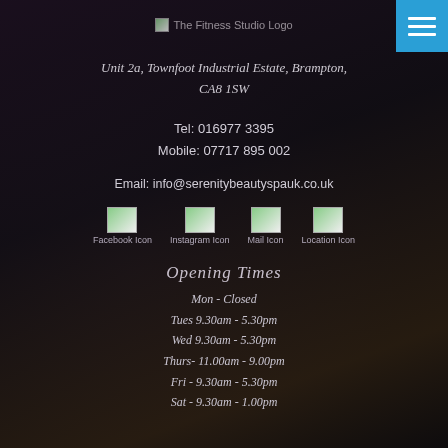[Figure (logo): The Fitness Studio Logo placeholder image]
Unit 2a, Townfoot Industrial Estate, Brampton, CA8 1SW
Tel: 016977 3395
Mobile: 07717 895 002
Email: info@serenitybeautyspauk.co.uk
[Figure (other): Social media and contact icons row: Facebook Icon, Instagram Icon, Mail Icon, Location Icon]
Opening Times
Mon - Closed
Tues 9.30am - 5.30pm
Wed 9.30am - 5.30pm
Thurs- 11.00am - 9.00pm
Fri  - 9.30am - 5.30pm
Sat -  9.30am - 1.00pm